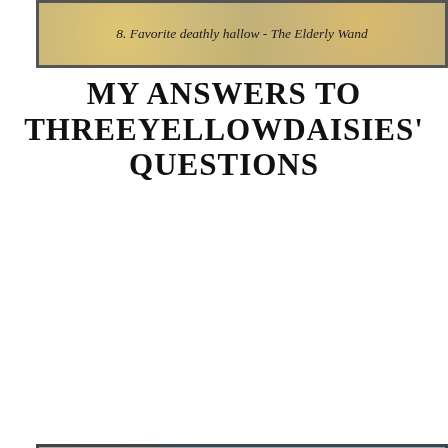8. Favorite deathly hallow - The Elderly Wand
MY ANSWERS TO THREEYELLOWDAISIES' QUESTIONS
1. Would you consider yourself more as an introvert or an extrovert, or both? Explain why - I am an introvert. I tested ISFP-T & I believe it's true. Sometimes, people perceive me as an extrovert because they cannot distinguish extroversion vs. passionate talkers.
2. Which quote do you live by the most? - It's a Bible verse, "And we know that in all things God works for the good of those who love him, who have been called according to his purpose." - Romans 8:28
3. What is your biggest accomplishment in your life thus far? And if you haven't accomplished it yet, talk about what you would like to accomplish - Being able to glorify the Lord for the choices I make and for the things I do. I know that I fall short too many times, but I am blessed